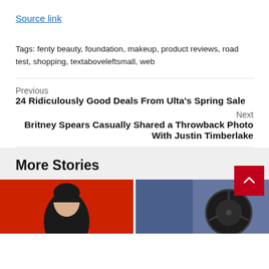Source link
Tags: fenty beauty, foundation, makeup, product reviews, road test, shopping, textaboveleftsmall, web
Previous
24 Ridiculously Good Deals From Ulta's Spring Sale
Next
Britney Spears Casually Shared a Throwback Photo With Justin Timberlake
More Stories
[Figure (photo): Photo thumbnail of a person against a red background]
[Figure (photo): Photo thumbnail with blue and dark tones]